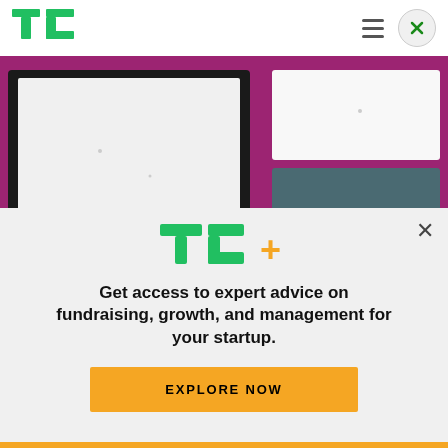TechCrunch header with TC logo, hamburger menu, and close button
[Figure (photo): Photo of multiple tablets/screens with blank white displays arranged on a pink/magenta background]
Image Credits: Bloomberg / Getty Images
Wix is taking a big step beyond website building today with the launch of a suite of products called
[Figure (infographic): TC+ promotional overlay: TC+ logo, tagline 'Get access to expert advice on fundraising, growth, and management for your startup.' and EXPLORE NOW button]
Get access to expert advice on fundraising, growth, and management for your startup.